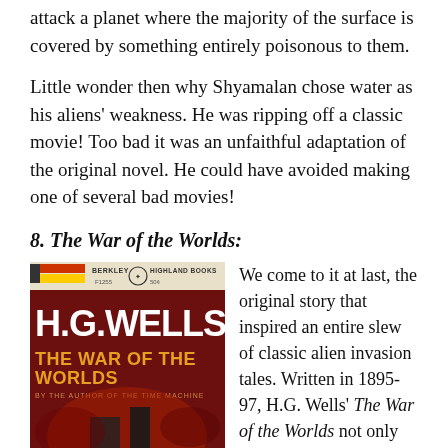attack a planet where the majority of the surface is covered by something entirely poisonous to them.
Little wonder then why Shyamalan chose water as his aliens' weakness. He was ripping off a classic movie! Too bad it was an unfaithful adaptation of the original novel. He could have avoided making one of several bad movies!
8. The War of the Worlds:
[Figure (photo): Book cover of H.G. Wells' The War of the Worlds, Berkley Highland Books edition, F1255, 50 cents. Bold red and black cover with large text H.G.WELLS and THE WAR OF THE WORLDS, BY THE AUTHOR OF THE TIME MACHINE.]
We come to it at last, the original story that inspired an entire slew of classic alien invasion tales. Written in 1895-97, H.G. Wells' The War of the Worlds not only introduced the world to the concept of